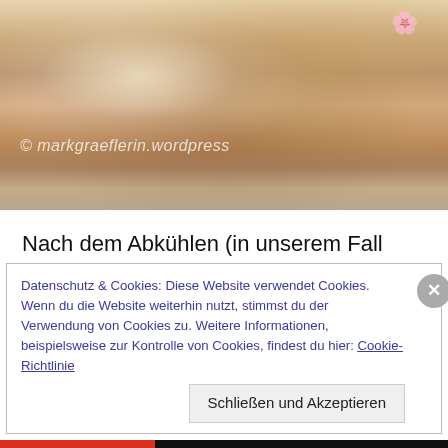[Figure (photo): Photograph of sliced bread/cake dusted with powdered sugar on a floral plate, with watermark '© markgraeflerin.wordpress']
Nach dem Abkühlen (in unserem Fall über Nacht) liebt Hermann es, wenn man ihn mit Genuß vernascht – z. B. zum Frühstück, mit etwas Puderzucker bestreut.
Datenschutz & Cookies: Diese Website verwendet Cookies. Wenn du die Website weiterhin nutzt, stimmst du der Verwendung von Cookies zu. Weitere Informationen, beispielsweise zur Kontrolle von Cookies, findest du hier: Cookie-Richtlinie
Schließen und Akzeptieren